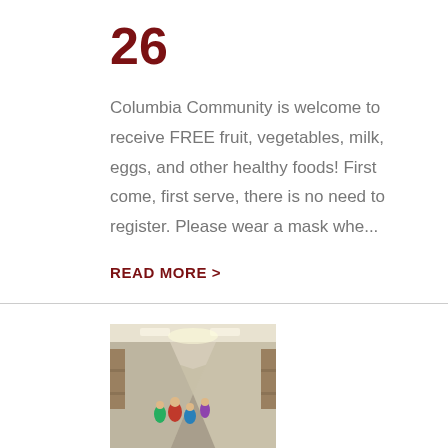26
Columbia Community is welcome to receive FREE fruit, vegetables, milk, eggs, and other healthy foods! First come, first serve, there is no need to register. Please wear a mask whe...
READ MORE >
[Figure (photo): School hallway with students walking]
Return to All Kids, Every Day
A copy of the information session can be